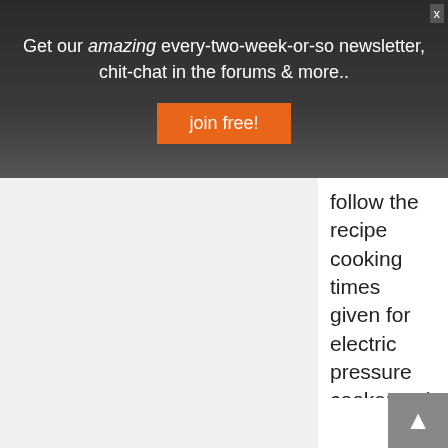Get our amazing every-two-week-or-so newsletter, chit-chat in the forums & more..
follow the recipe cooking times given for electric pressure cookers. ; )
Ciao,
L
P.S. To use the rest of these HTC (Hard To Cook) beans, long soak the